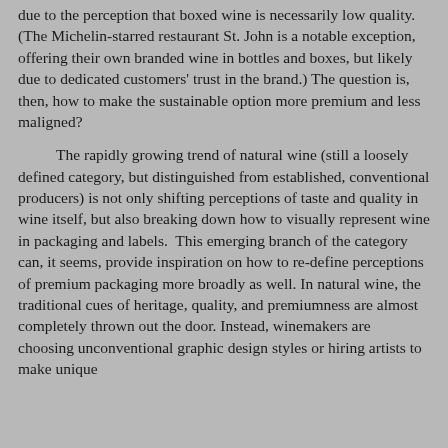due to the perception that boxed wine is necessarily low quality. (The Michelin-starred restaurant St. John is a notable exception, offering their own branded wine in bottles and boxes, but likely due to dedicated customers' trust in the brand.) The question is, then, how to make the sustainable option more premium and less maligned?
The rapidly growing trend of natural wine (still a loosely defined category, but distinguished from established, conventional producers) is not only shifting perceptions of taste and quality in wine itself, but also breaking down how to visually represent wine in packaging and labels. This emerging branch of the category can, it seems, provide inspiration on how to re-define perceptions of premium packaging more broadly as well. In natural wine, the traditional cues of heritage, quality, and premiumness are almost completely thrown out the door. Instead, winemakers are choosing unconventional graphic design styles or hiring artists to make unique